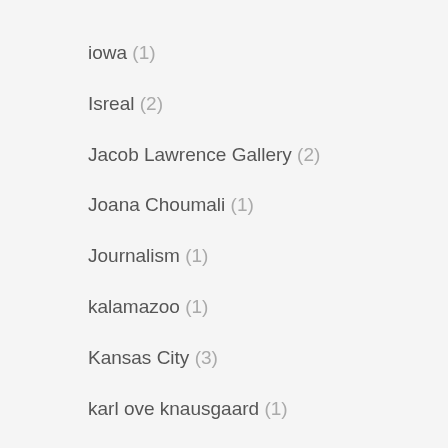iowa (1)
Isreal (2)
Jacob Lawrence Gallery (2)
Joana Choumali (1)
Journalism (1)
kalamazoo (1)
Kansas City (3)
karl ove knausgaard (1)
katmandu (1)
KieranTimberlake (1)